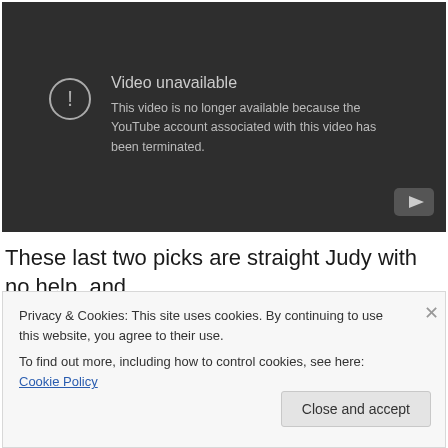[Figure (screenshot): YouTube embedded video player showing 'Video unavailable' error message. Dark gray background with a circle exclamation icon on the left and text stating 'Video unavailable - This video is no longer available because the YouTube account associated with this video has been terminated.' A YouTube play button icon is visible in the bottom right corner.]
These last two picks are straight Judy with no help, and
Privacy & Cookies: This site uses cookies. By continuing to use this website, you agree to their use.
To find out more, including how to control cookies, see here: Cookie Policy